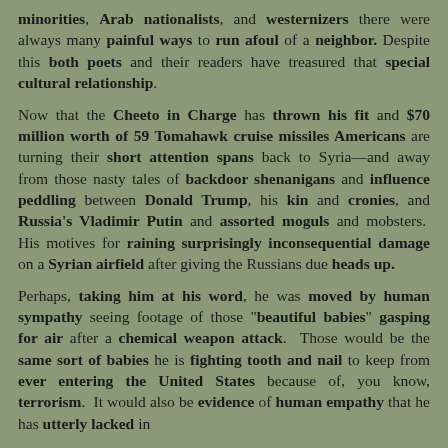minorities, Arab nationalists, and westernizers there were always many painful ways to run afoul of a neighbor. Despite this both poets and their readers have treasured that special cultural relationship.
Now that the Cheeto in Charge has thrown his fit and $70 million worth of 59 Tomahawk cruise missiles Americans are turning their short attention spans back to Syria—and away from those nasty tales of backdoor shenanigans and influence peddling between Donald Trump, his kin and cronies, and Russia's Vladimir Putin and assorted moguls and mobsters. His motives for raining surprisingly inconsequential damage on a Syrian airfield after giving the Russians due heads up.
Perhaps, taking him at his word, he was moved by human sympathy seeing footage of those "beautiful babies" gasping for air after a chemical weapon attack. Those would be the same sort of babies he is fighting tooth and nail to keep from ever entering the United States because of, you know, terrorism. It would also be evidence of human empathy that he has utterly lacked in